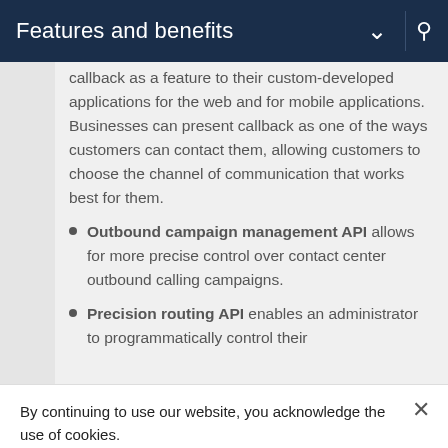Features and benefits
callback as a feature to their custom-developed applications for the web and for mobile applications. Businesses can present callback as one of the ways customers can contact them, allowing customers to choose the channel of communication that works best for them.
Outbound campaign management API allows for more precise control over contact center outbound calling campaigns.
Precision routing API enables an administrator to programmatically control their
By continuing to use our website, you acknowledge the use of cookies.
Privacy Statement › Change Settings ›